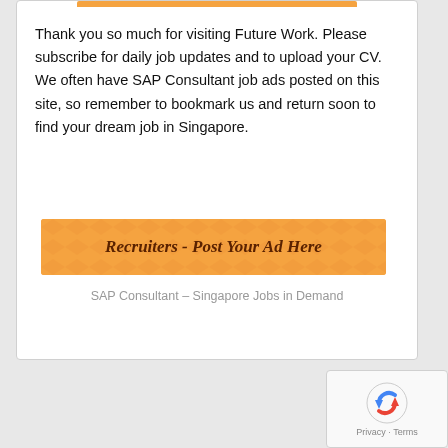Thank you so much for visiting Future Work. Please subscribe for daily job updates and to upload your CV. We often have SAP Consultant job ads posted on this site, so remember to bookmark us and return soon to find your dream job in Singapore.
[Figure (other): Orange banner with chevron/zigzag pattern background and bold italic text reading 'Recruiters - Post Your Ad Here']
SAP Consultant – Singapore Jobs in Demand